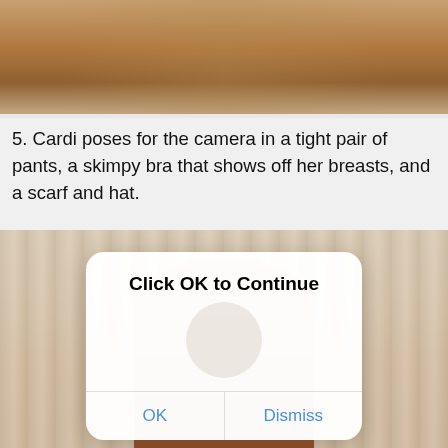[Figure (photo): Cropped photo showing torso of a person wearing a neon yellow/green bikini top with braids visible, belly button piercing and tattoo visible]
5. Cardi poses for the camera in a tight pair of pants, a skimpy bra that shows off her breasts, and a scarf and hat.
[Figure (photo): Photo showing a person wearing an elaborate beaded Egyptian-style necklace/collar in turquoise and gold, with decorative circular chest pieces, standing in front of vertical blinds or slats]
[Figure (screenshot): Mobile dialog modal overlay with title 'Click OK to Continue' and two buttons: OK and Dismiss, with a faint face visible behind it]